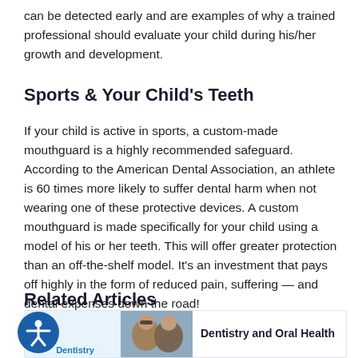can be detected early and are examples of why a trained professional should evaluate your child during his/her growth and development.
Sports & Your Child's Teeth
If your child is active in sports, a custom-made mouthguard is a highly recommended safeguard. According to the American Dental Association, an athlete is 60 times more likely to suffer dental harm when not wearing one of these protective devices. A custom mouthguard is made specifically for your child using a model of his or her teeth. This will offer greater protection than an off-the-shelf model. It's an investment that pays off highly in the form of reduced pain, suffering — and dental expenses down the road!
Related Articles
[Figure (other): Accessibility icon button (person with arms extended, in circle)]
[Figure (other): Related article card with label 'Dentistry' on blue background, a photo of people smiling, and text 'Dentistry and Oral Health']